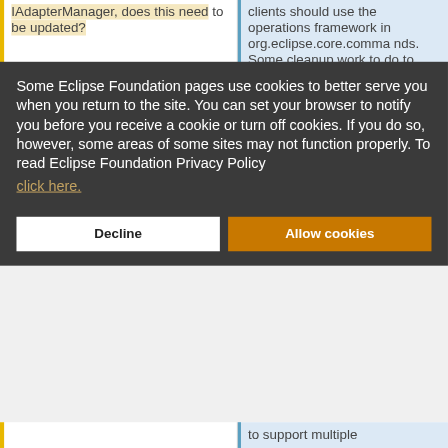IAdapterManager, does this need to be updated?
clients should use the operations framework in org.eclipse.core.commands. Some cleanup work to do to describe the "pure 4.0" story is
Some Eclipse Foundation pages use cookies to better serve you when you return to the site. You can set your browser to notify you before you receive a cookie or turn off cookies. If you do so, however, some areas of some sites may not function properly. To read Eclipse Foundation Privacy Policy click here.
Decline
Allow cookies
to support multiple